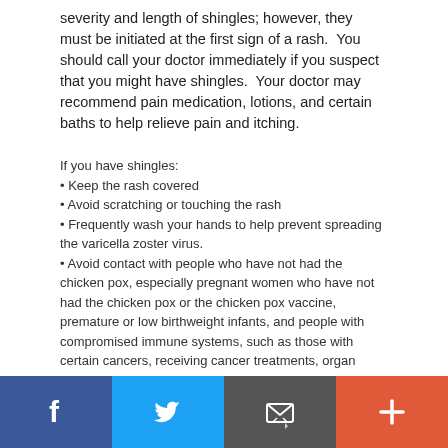severity and length of shingles; however, they must be initiated at the first sign of a rash.  You should call your doctor immediately if you suspect that you might have shingles.  Your doctor may recommend pain medication, lotions, and certain baths to help relieve pain and itching.
If you have shingles:
• Keep the rash covered
• Avoid scratching or touching the rash
• Frequently wash your hands to help prevent spreading the varicella zoster virus.
• Avoid contact with people who have not had the chicken pox, especially pregnant women who have not had the chicken pox or the chicken pox vaccine, premature or low birthweight infants, and people with compromised immune systems, such as those with certain cancers, receiving cancer treatments, organ transplant recipients, and people with HIV.
↑  Back to top
[Figure (infographic): Social media sharing footer bar with four buttons: Facebook (dark blue), Twitter (light blue), Email/envelope (dark gray), and Plus/more (orange-red)]